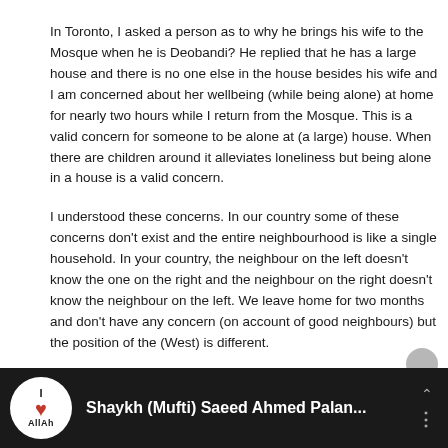In Toronto, I asked a person as to why he brings his wife to the Mosque when he is Deobandi? He replied that he has a large house and there is no one else in the house besides his wife and I am concerned about her wellbeing (while being alone) at home for nearly two hours while I return from the Mosque. This is a valid concern for someone to be alone at (a large) house. When there are children around it alleviates loneliness but being alone in a house is a valid concern.
I understood these concerns. In our country some of these concerns don't exist and the entire neighbourhood is like a single household. In your country, the neighbour on the left doesn't know the one on the right and the neighbour on the right doesn't know the neighbour on the left. We leave home for two months and don't have any concern (on account of good neighbours) but the position of the (West) is different.
We don't say anything about women attending Mosques in these countries, if they are attending let them attend. Your question concerns a system and it should be adopted and practised at home and not at the Mosques.
[Figure (screenshot): Video bar showing a YouTube-style player with a white circular logo featuring 'I ❤ AllAh' text, and the title 'Shaykh (Mufti) Saeed Ahmed Palan...' on a dark background with navigation icons.]